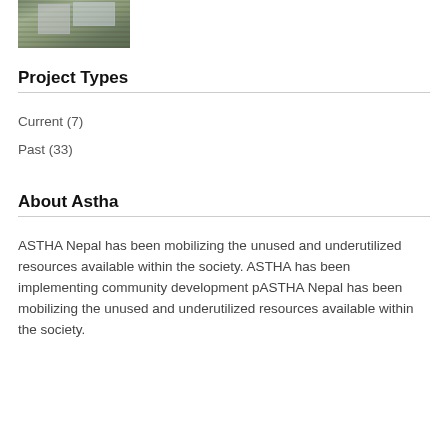[Figure (photo): Outdoor photo showing a sign or billboard with people/structures in background]
Project Types
Current  (7)
Past  (33)
About Astha
ASTHA Nepal has been mobilizing the unused and underutilized resources available within the society. ASTHA has been implementing community development pASTHA Nepal has been mobilizing the unused and underutilized resources available within the society.